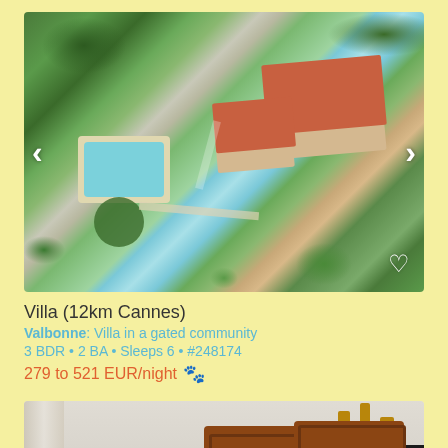[Figure (photo): Aerial view of a villa with terracotta roof, swimming pool, and lush garden landscaping with palm trees, near Cannes, France]
Villa (12km Cannes)
Valbonne: Villa in a gated community
3 BDR • 2 BA • Sleeps 6 • #248174
279 to 521 EUR/night 🐾
[Figure (photo): Interior room of the villa showing wooden furniture including display shelves with X-pattern design, a TV, and vases on top]